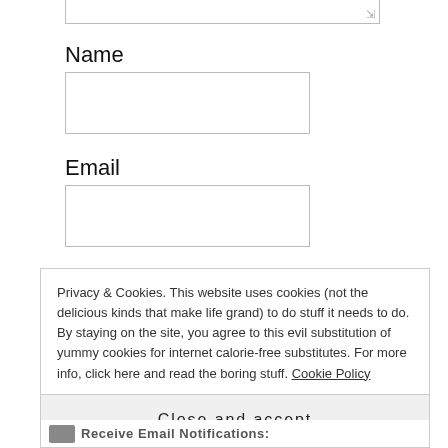[Figure (screenshot): Top portion of a web form textarea (bottom edge visible) with a resize handle in the bottom-right corner.]
Name
[Figure (screenshot): Empty text input field for Name.]
Email
[Figure (screenshot): Empty text input field for Email.]
Privacy & Cookies. This website uses cookies (not the delicious kinds that make life grand) to do stuff it needs to do. By staying on the site, you agree to this evil substitution of yummy cookies for internet calorie-free substitutes. For more info, click here and read the boring stuff. Cookie Policy
Close and accept
Receive Email Notifications: